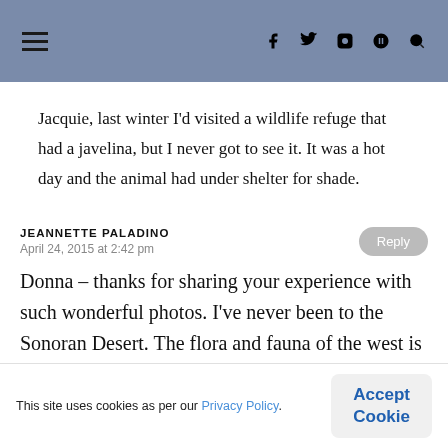☰  f  tw  ✉  P  🔍
Jacquie, last winter I'd visited a wildlife refuge that had a javelina, but I never got to see it. It was a hot day and the animal had under shelter for shade.
JEANNETTE PALADINO
April 24, 2015 at 2:42 pm
Donna – thanks for sharing your experience with such wonderful photos. I've never been to the Sonoran Desert. The flora and fauna of the west is so different
This site uses cookies as per our Privacy Policy.